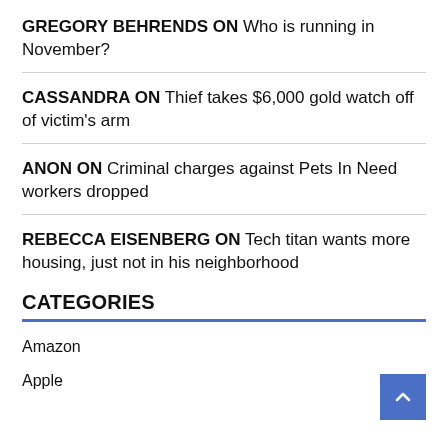GREGORY BEHRENDS ON Who is running in November?
CASSANDRA ON Thief takes $6,000 gold watch off of victim's arm
ANON ON Criminal charges against Pets In Need workers dropped
REBECCA EISENBERG ON Tech titan wants more housing, just not in his neighborhood
CATEGORIES
Amazon
Apple